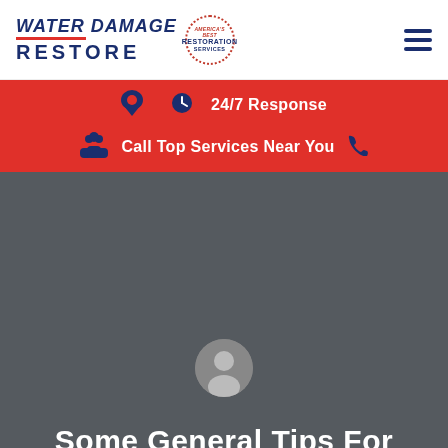[Figure (logo): Water Damage Restore logo with red underlines and America's Best Restoration Services badge circle]
24/7 Response
Call Top Services Near You
[Figure (photo): Dark gray background with a default user avatar icon in the center]
Some General Tips For